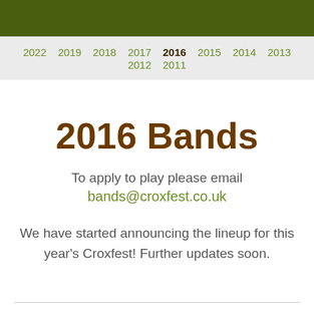2022 2019 2018 2017 2016 2015 2014 2013 2012 2011
2016 Bands
To apply to play please email bands@croxfest.co.uk
We have started announcing the lineup for this year's Croxfest! Further updates soon.